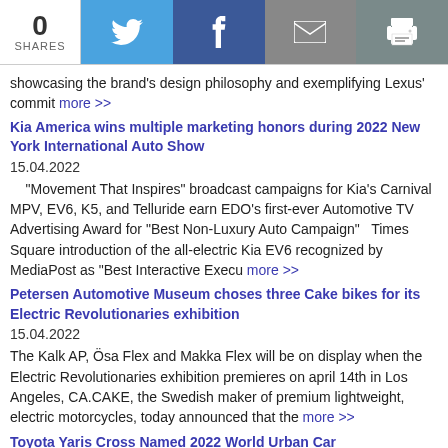0 SHARES | Twitter | Facebook | Email | Print
showcasing the brand's design philosophy and exemplifying Lexus' commit more >>
Kia America wins multiple marketing honors during 2022 New York International Auto Show
15.04.2022
“Movement That Inspires” broadcast campaigns for Kia’s Carnival MPV, EV6, K5, and Telluride earn EDO’s first-ever Automotive TV Advertising Award for “Best Non-Luxury Auto Campaign”   Times Square introduction of the all-electric Kia EV6 recognized by MediaPost as “Best Interactive Execu more >>
Petersen Automotive Museum choses three Cake bikes for its Electric Revolutionaries exhibition
15.04.2022
The Kalk AP, Ösa Flex and Makka Flex will be on display when the Electric Revolutionaries exhibition premieres on april 14th in Los Angeles, CA.CAKE, the Swedish maker of premium lightweight, electric motorcycles, today announced that the more >>
Toyota Yaris Cross Named 2022 World Urban Car
14.04.2022
The Yaris Cross has been named 2022 World Urban Car by the organisers of the World Car Awards which was selected by the